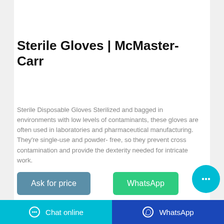[Figure (photo): Product hero image showing blue sterile gloves on dark background]
Sterile Gloves | McMaster-Carr
Sterile Disposable Gloves Sterilized and bagged in environments with low levels of contaminants, these gloves are often used in laboratories and pharmaceutical manufacturing. They're single-use and powder- free, so they prevent cross contamination and provide the dexterity needed for intricate work.
[Figure (other): Ask for price button (teal/steel blue)]
[Figure (other): WhatsApp button (green)]
[Figure (other): Chat bubble icon (cyan circle with ellipsis)]
Chat online   WhatsApp